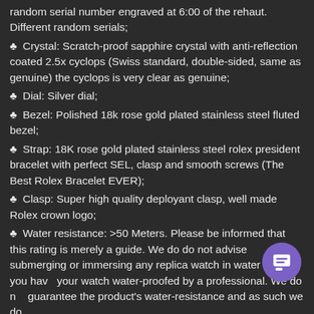random serial number engraved at 6:00 of the rehaut. Different random serials;
♣ Crystal: Scratch-proof sapphire crystal with anti-reflection coated 2.5x cyclops (Swiss standard, double-sided, same as genuine) the cyclops is very clear as genuine;
♣ Dial: Silver dial;
♣ Bezel: Polished 18k rose gold plated stainless steel fluted bezel;
♣ Strap: 18K rose gold plated stainless steel rolex president bracelet with perfect SEL, clasp and smooth screws (The Best Rolex Bracelet EVER);
♣ Clasp: Super high quality deployant clasp, well made Rolex crown logo;
♣ Water resistance: >50 Meters. Please be informed that this rating is merely a guide. We do do not advise submerging or immersing any replica watch in water unless you have your watch water-proofed by a professional. We do not guarantee the product's water-resistance and as such we do